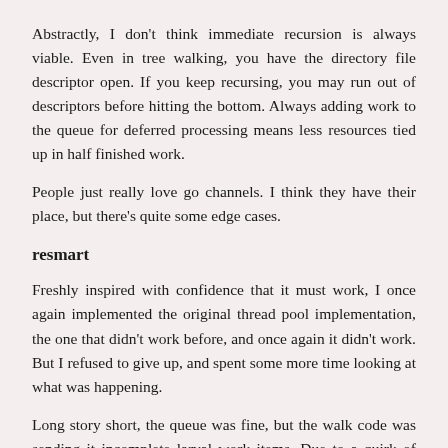Abstractly, I don’t think immediate recursion is always viable. Even in tree walking, you have the directory file descriptor open. If you keep recursing, you may run out of descriptors before hitting the bottom. Always adding work to the queue for deferred processing means less resources tied up in half finished work.
People just really love go channels. I think they have their place, but there’s quite some edge cases.
resmart
Freshly inspired with confidence that it must work, I once again implemented the original thread pool implementation, the one that didn’t work before, and once again it didn’t work. But I refused to give up, and spent some more time looking at what was happening.
Long story short, the queue was fine, but the walk code was sending it incomplete larval work items. Due to a quirk of how I was assembling the tree, the node for “src/sys/kern” was